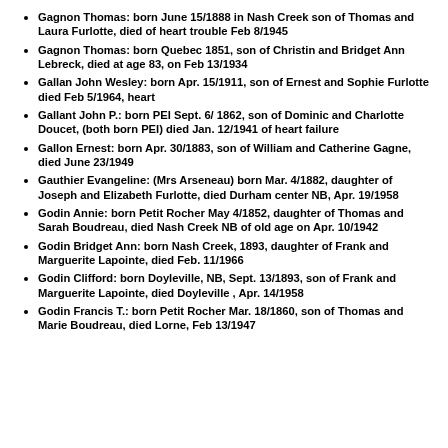Gagnon Thomas: born June 15/1888 in Nash Creek son of Thomas and Laura Furlotte, died of heart trouble Feb 8/1945
Gagnon Thomas: born Quebec 1851, son of Christin and Bridget Ann Lebreck, died at age 83, on Feb 13/1934
Gallan John Wesley: born Apr. 15/1911, son of Ernest and Sophie Furlotte died Feb 5/1964, heart
Gallant John P.: born PEI Sept. 6/ 1862, son of Dominic and Charlotte Doucet, (both born PEI) died Jan. 12/1941 of heart failure
Gallon Ernest: born Apr. 30/1883, son of William and Catherine Gagne, died June 23/1949
Gauthier Evangeline: (Mrs Arseneau) born Mar. 4/1882, daughter of Joseph and Elizabeth Furlotte, died Durham center NB, Apr. 19/1958
Godin Annie: born Petit Rocher May 4/1852, daughter of Thomas and Sarah Boudreau, died Nash Creek NB of old age on Apr. 10/1942
Godin Bridget Ann: born Nash Creek, 1893, daughter of Frank and Marguerite Lapointe, died Feb. 11/1966
Godin Clifford: born Doyleville, NB, Sept. 13/1893, son of Frank and Marguerite Lapointe, died Doyleville , Apr. 14/1958
Godin Francis T.: born Petit Rocher Mar. 18/1860, son of Thomas and Marie Boudreau, died Lorne, Feb 13/1947